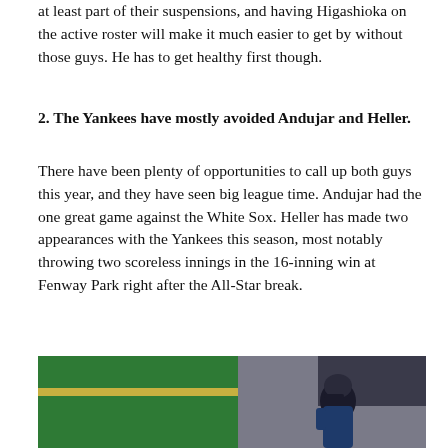at least part of their suspensions, and having Higashioka on the active roster will make it much easier to get by without those guys. He has to get healthy first though.
2. The Yankees have mostly avoided Andujar and Heller.
There have been plenty of opportunities to call up both guys this year, and they have seen big league time. Andujar had the one great game against the White Sox. Heller has made two appearances with the Yankees this season, most notably throwing two scoreless innings in the 16-inning win at Fenway Park right after the All-Star break.
[Figure (photo): A baseball player wearing a helmet, photographed outdoors near a field with green and yellow outfield wall visible in background.]